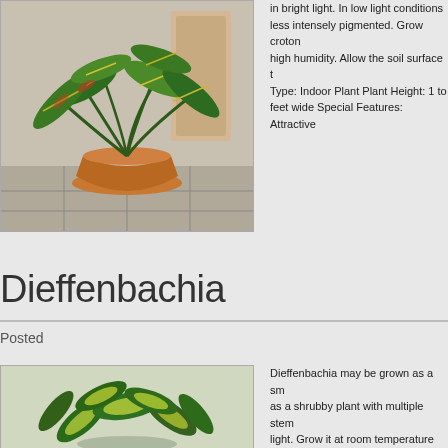[Figure (photo): Croton plant in a pot with large variegated green and yellow leaves, placed on a tiled floor indoors]
in bright light. In low light conditions less intensely pigmented. Grow croton high humidity. Allow the soil surface t Type: Indoor Plant Plant Height: 1 to feet wide Special Features: Attractive
Dieffenbachia
Posted
[Figure (photo): Dieffenbachia plant with large green and cream variegated leaves in a pot]
Dieffenbachia may be grown as a sn as a shrubby plant with multiple stem light. Grow it at room temperature an is sometimes called dumb cane, a re sap, which can cause tongue numbr children or pets. Plant Type: Indoor P